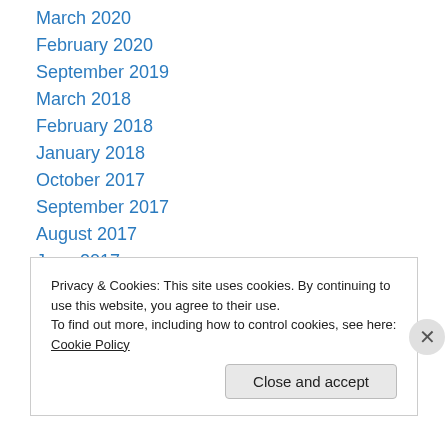March 2020
February 2020
September 2019
March 2018
February 2018
January 2018
October 2017
September 2017
August 2017
June 2017
April 2017
January 2017
March 2016
September 2015
Privacy & Cookies: This site uses cookies. By continuing to use this website, you agree to their use. To find out more, including how to control cookies, see here: Cookie Policy
Close and accept